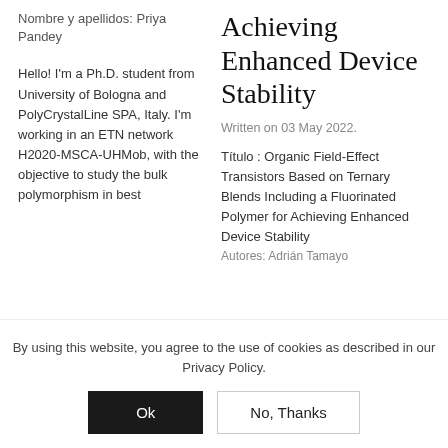Nombre y apellidos: Priya Pandey
Achieving Enhanced Device Stability
Written on 03 May 2022.
Hello! I'm a Ph.D. student from University of Bologna and PolyCrystalLine SPA, Italy. I'm working in an ETN network H2020-MSCA-UHMob, with the objective to study the bulk polymorphism in best
Título : Organic Field-Effect Transistors Based on Ternary Blends Including a Fluorinated Polymer for Achieving Enhanced Device Stability
Autores: Adrián Tamayo
By using this website, you agree to the use of cookies as described in our Privacy Policy.